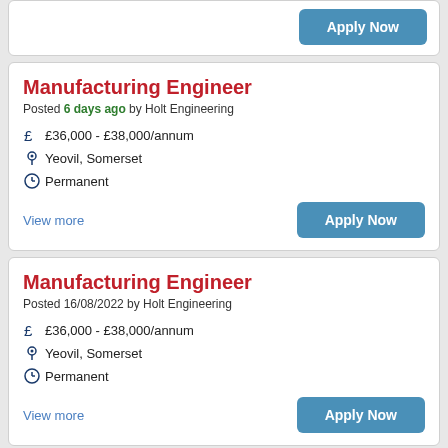[Figure (screenshot): Partial top card showing Apply Now button only]
Manufacturing Engineer
Posted 6 days ago by Holt Engineering
£36,000 - £38,000/annum
Yeovil, Somerset
Permanent
View more
Manufacturing Engineer
Posted 16/08/2022 by Holt Engineering
£36,000 - £38,000/annum
Yeovil, Somerset
Permanent
View more